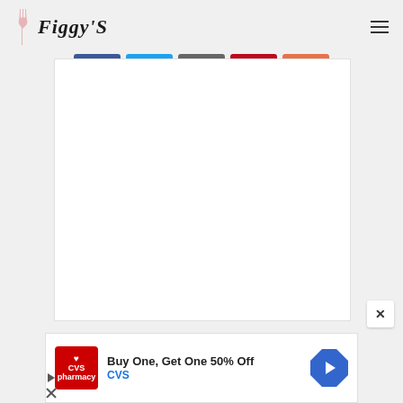Figgy's
[Figure (other): Row of social share buttons: Facebook (blue), Twitter (light blue), Email (gray), Pinterest (red), and an orange share button]
[Figure (other): White content area box (article or image area), mostly blank white rectangle]
[Figure (other): Close X button overlay in bottom right corner]
[Figure (other): CVS Pharmacy advertisement banner: CVS logo on left, text 'Buy One, Get One 50% Off' and 'CVS', blue arrow icon on right, with ad play and close controls at bottom left]